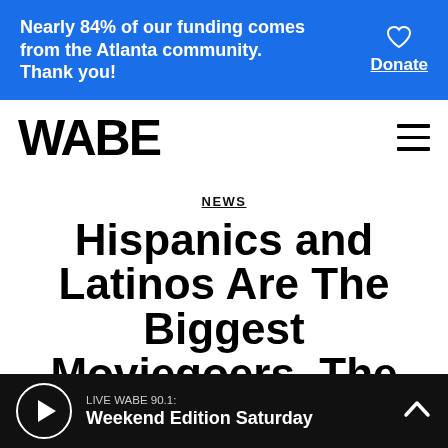Nearly 84% of our funding comes from the Atlanta community. Thank you!
Donate
[Figure (logo): WABE radio station logo in bold block letters]
NEWS
Hispanics and Latinos Are The Biggest Moviegoers. The Big Screen
LIVE WABE 90.1: Weekend Edition Saturday